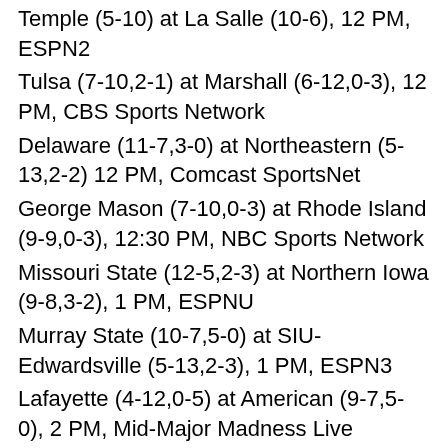Temple (5-10) at La Salle (10-6), 12 PM, ESPN2
Tulsa (7-10,2-1) at Marshall (6-12,0-3), 12 PM, CBS Sports Network
Delaware (11-7,3-0) at Northeastern (5-13,2-2) 12 PM, Comcast SportsNet
George Mason (7-10,0-3) at Rhode Island (9-9,0-3), 12:30 PM, NBC Sports Network
Missouri State (12-5,2-3) at Northern Iowa (9-8,3-2), 1 PM, ESPNU
Murray State (10-7,5-0) at SIU-Edwardsville (5-13,2-3), 1 PM, ESPN3
Lafayette (4-12,0-5) at American (9-7,5-0), 2 PM, Mid-Major Madness Live Streaming
Navy (7-9,2-3) at Colgate (6-10,0-5), 2 PM, Mid-Major Madness Live Streaming
Milwaukee (13-6,3-2) at Valparaiso (10-9,2-2), 2 PM, ESPN3